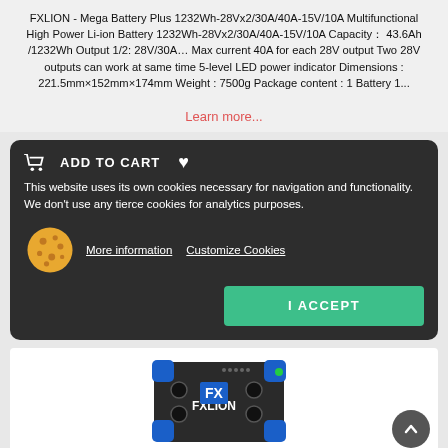FXLION - Mega Battery Plus 1232Wh-28Vx2/30A/40A-15V/10A Multifunctional High Power Li-ion Battery 1232Wh-28Vx2/30A/40A-15V/10A Capacity： 43.6Ah /1232Wh Output 1/2: 28V/30A… Max current 40A for each 28V output Two 28V outputs can work at same time 5-level LED power indicator Dimensions : 221.5mm×152mm×174mm Weight : 7500g Package content : 1 Battery 1...
Learn more...
ADD TO CART
This website uses its own cookies necessary for navigation and functionality. We don't use any tierce cookies for analytics purposes.
More information  Customize Cookies
I ACCEPT
[Figure (photo): Photo of FXLION Mega Battery Plus product, a black box with blue corner protectors, multiple output ports, and the FXLION logo on the front.]